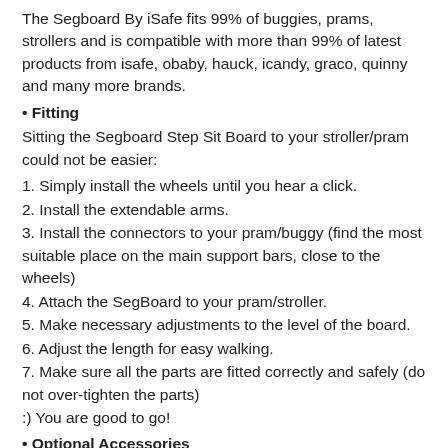The Segboard By iSafe fits 99% of buggies, prams, strollers and is compatible with more than 99% of latest products from isafe, obaby, hauck, icandy, graco, quinny and many more brands.
• Fitting
Sitting the Segboard Step Sit Board to your stroller/pram could not be easier:
1. Simply install the wheels until you hear a click.
2. Install the extendable arms.
3. Install the connectors to your pram/buggy (find the most suitable place on the main support bars, close to the wheels)
4. Attach the SegBoard to your pram/stroller.
5. Make necessary adjustments to the level of the board.
6. Adjust the length for easy walking.
7. Make sure all the parts are fitted correctly and safely (do not over-tighten the parts)
:) You are good to go!
• Optional Accessories
1. The Step/Sit Saddle provides fun when out and about